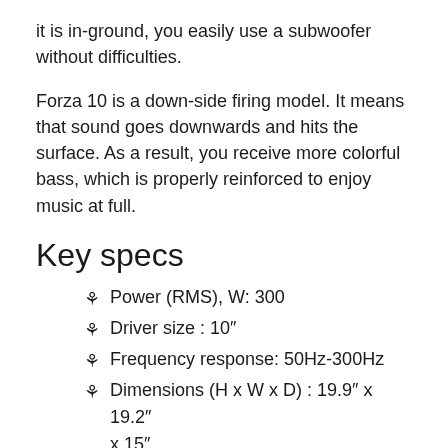it is in-ground, you easily use a subwoofer without difficulties.
Forza 10 is a down-side firing model. It means that sound goes downwards and hits the surface. As a result, you receive more colorful bass, which is properly reinforced to enjoy music at full.
Key specs
Power (RMS), W: 300
Driver size : 10″
Frequency response: 50Hz-300Hz
Dimensions (H x W x D) : 19.9″ x 19.2″ x 15″